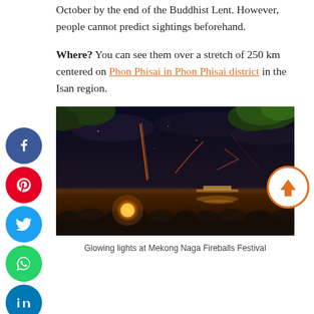October by the end of the Buddhist Lent. However, people cannot predict sightings beforehand.
Where? You can see them over a stretch of 250 km centered on Phon Phisai in Phon Phisai district in the Isan region.
[Figure (photo): Night scene of glowing lights rising from the Mekong River bank with crowds watching, trees silhouetted against night sky, orange fireball visible and light trails in the sky.]
Glowing lights at Mekong Naga Fireballs Festival